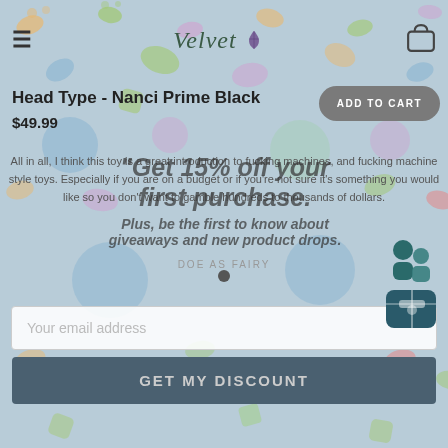Velvet (brand logo with hamburger menu and cart icon)
Head Type - Nanci Prime Black
$49.99
ADD TO CART
"Get 15% off your first purchase. Plus, be the first to know about giveaways and new product drops."
All in all, I think this toy is a great introduction to fucking machines, and fucking machine style toys. Especially if you are on a budget or if you're not sure it's something you would like so you don't want to gamble hundreds to thousands of dollars.
DOE AS FAIRY
Your email address
GET MY DISCOUNT